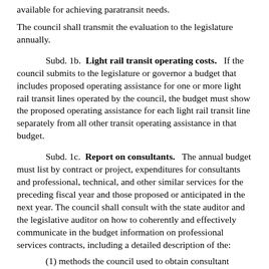available for achieving paratransit needs.
The council shall transmit the evaluation to the legislature annually.
Subd. 1b. Light rail transit operating costs. If the council submits to the legislature or governor a budget that includes proposed operating assistance for one or more light rail transit lines operated by the council, the budget must show the proposed operating assistance for each light rail transit line separately from all other transit operating assistance in that budget.
Subd. 1c. Report on consultants. The annual budget must list by contract or project, expenditures for consultants and professional, technical, and other similar services for the preceding fiscal year and those proposed or anticipated in the next year. The council shall consult with the state auditor and the legislative auditor on how to coherently and effectively communicate in the budget information on professional services contracts, including a detailed description of the:
(1) methods the council used to obtain consultant services;